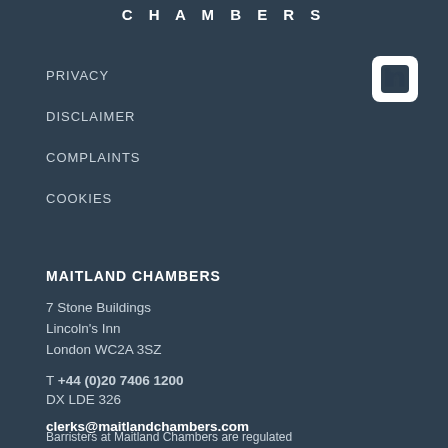CHAMBERS
[Figure (logo): LinkedIn icon - white 'in' on white rounded square background]
PRIVACY
DISCLAIMER
COMPLAINTS
COOKIES
MAITLAND CHAMBERS
7 Stone Buildings
Lincoln's Inn
London WC2A 3SZ
T +44 (0)20 7406 1200
DX LDE 326
clerks@maitlandchambers.com
Barristers at Maitland Chambers are regulated